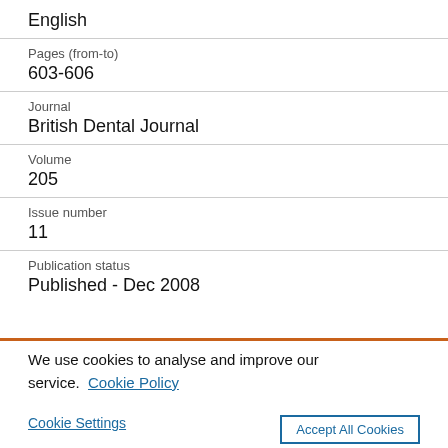English
Pages (from-to)
603-606
Journal
British Dental Journal
Volume
205
Issue number
11
Publication status
Published - Dec 2008
We use cookies to analyse and improve our service. Cookie Policy